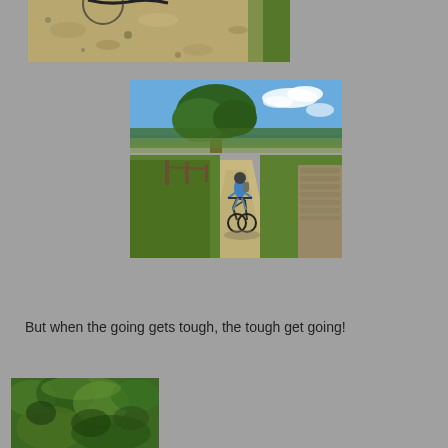[Figure (photo): Partial photo at top of page showing rocky ground/gravel path with green grass edge, appears to be a mountain bike trail, cropped at top]
[Figure (photo): Photo of a cyclist riding a mountain bike on a gravel path with blue sky, large tree, fields and stone wall visible. The rider is wearing blue and appears to be heading toward the camera.]
But when the going gets tough, the tough get going!
[Figure (photo): Aerial or elevated view of green hillside/woodland landscape, partially cropped at bottom of page]